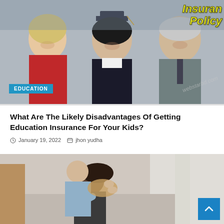[Figure (photo): A smiling graduate in cap and gown flanked by two proud parents, with 'Insurance Policy' text overlay in yellow italic and a watermark 'webstarbd.com']
EDUCATION
What Are The Likely Disadvantages Of Getting Education Insurance For Your Kids?
January 19, 2022   jhon yudha
[Figure (photo): A couple embracing a child or person, emotional scene in a bedroom/living room setting with a scroll-to-top button visible]